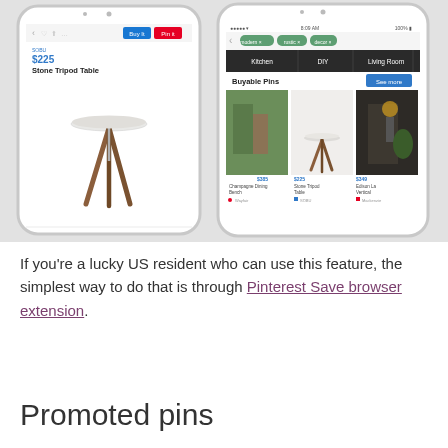[Figure (screenshot): Two iPhone screenshots showing Pinterest Buyable Pins feature. Left phone shows a product page for a Stone Tripod Table priced at $225 with Buy it and Pin it buttons. Right phone shows search results with tags modern, rustic, decor, category tabs Kitchen/DIY/Living Room, and a Buyable Pins section with product cards.]
If you're a lucky US resident who can use this feature, the simplest way to do that is through Pinterest Save browser extension.
Promoted pins